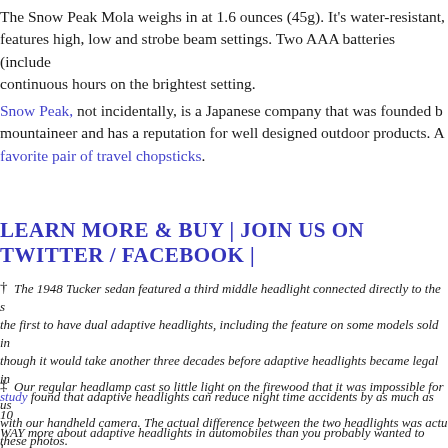The Snow Peak Mola weighs in at 1.6 ounces (45g). It's water-resistant, features high, low and strobe beam settings. Two AAA batteries (included) continuous hours on the brightest setting.
Snow Peak, not incidentally, is a Japanese company that was founded b mountaineer and has a reputation for well designed outdoor products. A favorite pair of travel chopsticks.
LEARN MORE & BUY | JOIN US ON TWITTER / FACEBOOK |
† The 1948 Tucker sedan featured a third middle headlight connected directly to the s the first to have dual adaptive headlights, including the feature on some models sold i though it would take another three decades before adaptive headlights became legal i study found that adaptive headlights can reduce night time accidents by as much as 10 WAY more about adaptive headlights in automobiles than you probably wanted to know
‡ Our regular headlamp cast so little light on the firewood that it was impossible for us with our handheld camera. The actual difference between the two headlights was actu these photos.